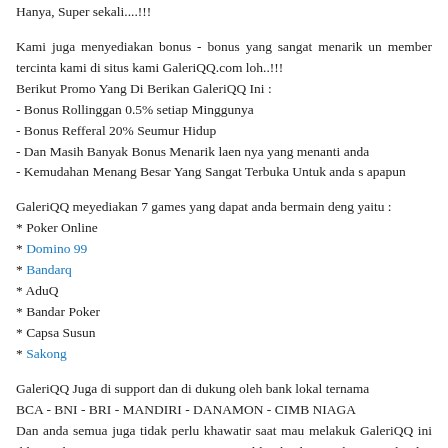Hanya, Super sekali....!!!
Kami juga menyediakan bonus - bonus yang sangat menarik untuk member tercinta kami di situs kami GaleriQQ.com loh..!!!
Berikut Promo Yang Di Berikan GaleriQQ Ini :
- Bonus Rollinggan 0.5% setiap Minggunya
- Bonus Refferal 20% Seumur Hidup
- Dan Masih Banyak Bonus Menarik laen nya yang menanti anda
- Kemudahan Menang Besar Yang Sangat Terbuka Untuk anda semua apapun
GaleriQQ meyediakan 7 games yang dapat anda bermain dengan yaitu :
* Poker Online
* Domino 99
* Bandarq
* AduQ
* Bandar Poker
* Capsa Susun
* Sakong
GaleriQQ Juga di support dan di dukung oleh bank lokal ternama BCA - BNI - BRI - MANDIRI - DANAMON - CIMB NIAGA
Dan anda semua juga tidak perlu khawatir saat mau melakukan GaleriQQ ini dikarenakan situs yang satu ini memiliki kualitas teknologi canggih dan menyediakan link alternatif untuk anda semua untuk anda untuk melakukan login ke website GaleriQQ tentunya.